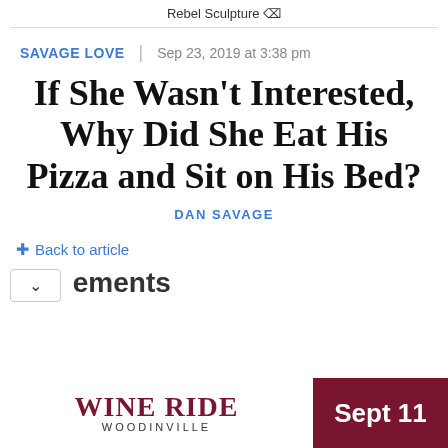Rebel Sculpture ☒
SAVAGE LOVE | Sep 23, 2019 at 3:38 pm
If She Wasn't Interested, Why Did She Eat His Pizza and Sit on His Bed?
DAN SAVAGE
Back to article
ements
[Figure (other): Advertisement banner for WINE RIDE WOODINVILLE with date Sept 11 on dark red background]